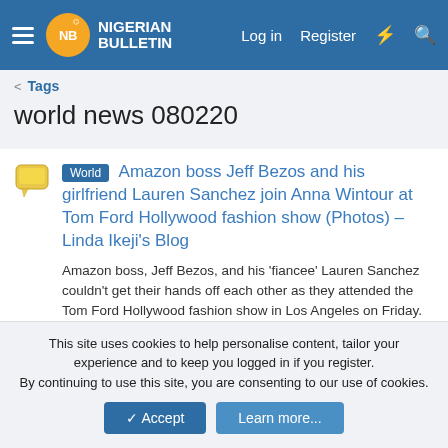Nigerian Bulletin — Log in  Register
< Tags
world news 080220
World  Amazon boss Jeff Bezos and his girlfriend Lauren Sanchez join Anna Wintour at Tom Ford Hollywood fashion show (Photos) – Linda Ikeji's Blog

Amazon boss, Jeff Bezos, and his 'fiancee' Lauren Sanchez couldn't get their hands off each other as they attended the Tom Ford Hollywood fashion show in Los Angeles on Friday. The world's richest man, 56, and his rumored fiance, 50, who sat on the front row held hands … Read more via Linda...

Nigeria World News · Thread · Feb 8, 2020 ·
jeff bezos and lauren sanchez news   linda ikeji blog news
This site uses cookies to help personalise content, tailor your experience and to keep you logged in if you register.
By continuing to use this site, you are consenting to our use of cookies.